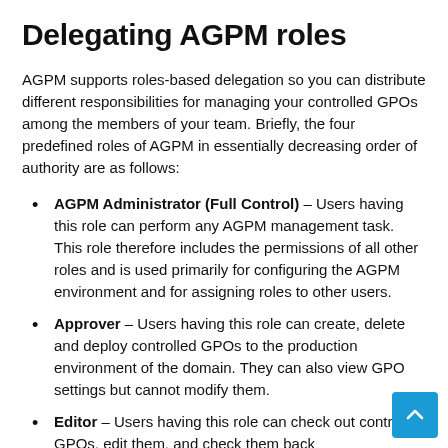Delegating AGPM roles
AGPM supports roles-based delegation so you can distribute different responsibilities for managing your controlled GPOs among the members of your team. Briefly, the four predefined roles of AGPM in essentially decreasing order of authority are as follows:
AGPM Administrator (Full Control) – Users having this role can perform any AGPM management task. This role therefore includes the permissions of all other roles and is used primarily for configuring the AGPM environment and for assigning roles to other users.
Approver – Users having this role can create, delete and deploy controlled GPOs to the production environment of the domain. They can also view GPO settings but cannot modify them.
Editor – Users having this role can check out controlled GPOs, edit them, and check them back